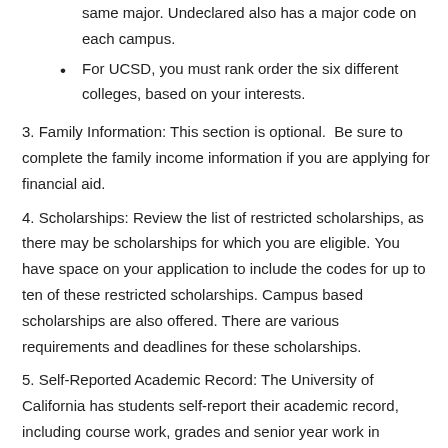same major. Undeclared also has a major code on each campus.
For UCSD, you must rank order the six different colleges, based on your interests.
3. Family Information: This section is optional.  Be sure to complete the family income information if you are applying for financial aid.
4. Scholarships: Review the list of restricted scholarships, as there may be scholarships for which you are eligible. You have space on your application to include the codes for up to ten of these restricted scholarships. Campus based scholarships are also offered. There are various requirements and deadlines for these scholarships.
5. Self-Reported Academic Record: The University of California has students self-report their academic record, including course work, grades and senior year work in